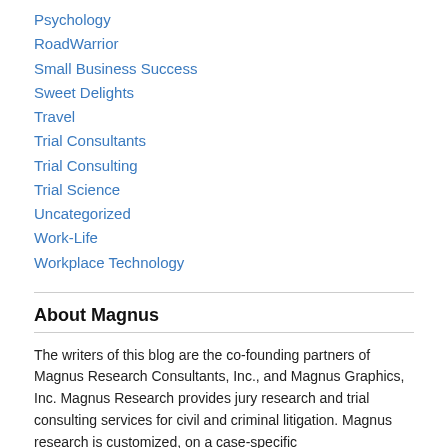Psychology
RoadWarrior
Small Business Success
Sweet Delights
Travel
Trial Consultants
Trial Consulting
Trial Science
Uncategorized
Work-Life
Workplace Technology
About Magnus
The writers of this blog are the co-founding partners of Magnus Research Consultants, Inc., and Magnus Graphics, Inc. Magnus Research provides jury research and trial consulting services for civil and criminal litigation. Magnus research is customized, on a case-specific